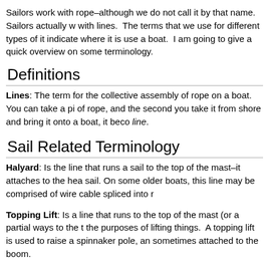Sailors work with rope–although we do not call it by that name. Sailors actually work with lines.  The terms that we use for different types of it indicate where it is used on a boat.  I am going to give a quick overview on some terminology.
Definitions
Lines: The term for the collective assembly of rope on a boat.  You can take a piece of rope, and the second you take it from shore and bring it onto a boat, it becomes a line.
Sail Related Terminology
Halyard: Is the line that runs a sail to the top of the mast–it attaches to the head of a sail. On some older boats, this line may be comprised of wire cable spliced into rope.
Topping Lift: Is a line that runs to the top of the mast (or a partial ways to the top) for the purposes of lifting things.  A topping lift is used to raise a spinnaker pole, and is sometimes attached to the boom.
Sheet: Is a line that connects the clew of a sail to the boat.
Outhaul: Is really a control used to pull tighten the foot of a sail.  In most cases, a line attached to the clew of the sail that pulls the foot away from the mast.